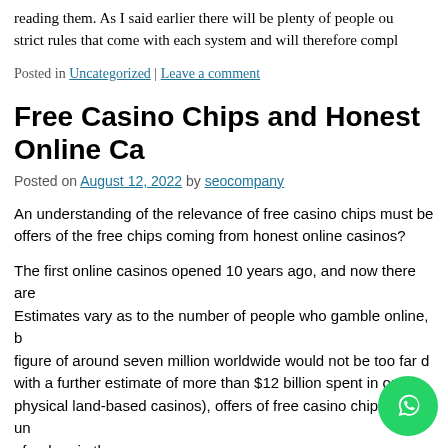reading them. As I said earlier there will be plenty of people out strict rules that come with each system and will therefore compl
Posted in Uncategorized | Leave a comment
Free Casino Chips and Honest Online Ca
Posted on August 12, 2022 by seocompany
An understanding of the relevance of free casino chips must be offers of the free chips coming from honest online casinos?
The first online casinos opened 10 years ago, and now there are Estimates vary as to the number of people who gamble online, b figure of around seven million worldwide would not be too far o with a further estimate of more than $12 billion spent in online physical land-based casinos), offers of free casino chips may un of a drop in the ocean.
Add to that the question of only the most of free casino...